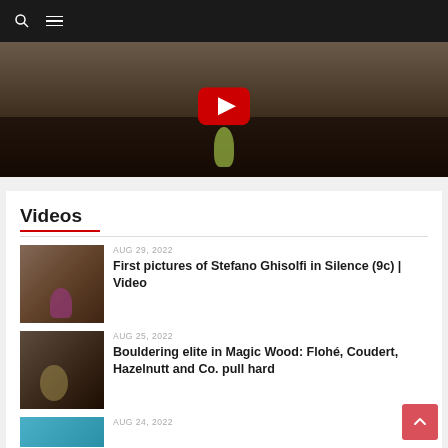Navigation bar with search and menu icons
[Figure (screenshot): YouTube video thumbnail showing a climber on a rock face with a red YouTube play button overlay]
Videos
AUG 29, 2022
First pictures of Stefano Ghisolfi in Silence (9c) | Video
AUG 25, 2022
Bouldering elite in Magic Wood: Flohé, Coudert, Hazelnutt and Co. pull hard
AUG 24, 2022